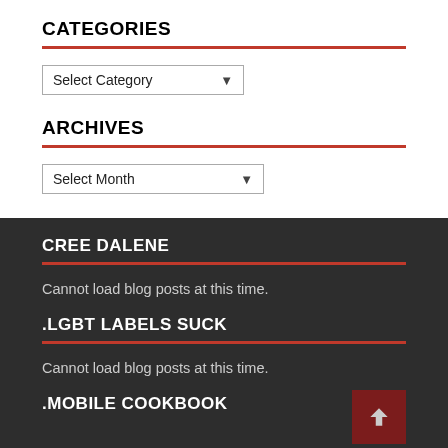CATEGORIES
Select Category
ARCHIVES
Select Month
CREE DALENE
Cannot load blog posts at this time.
.LGBT LABELS SUCK
Cannot load blog posts at this time.
.MOBILE COOKBOOK